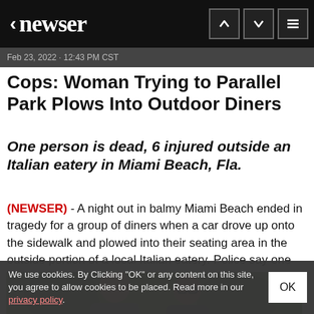< newser
Feb 23, 2022 · 12:43 PM CST
Cops: Woman Trying to Parallel Park Plows Into Outdoor Diners
One person is dead, 6 injured outside an Italian eatery in Miami Beach, Fla.
(NEWSER) - A night out in balmy Miami Beach ended in tragedy for a group of diners when a car drove up onto the sidewalk and plowed into their seating area in the outside portion of a local Italian eatery. Police say one person is dead and six are injured after the...
[Figure (photo): Photo of two people outdoors with trees in background]
We use cookies. By Clicking "OK" or any content on this site, you agree to allow cookies to be placed. Read more in our privacy policy.